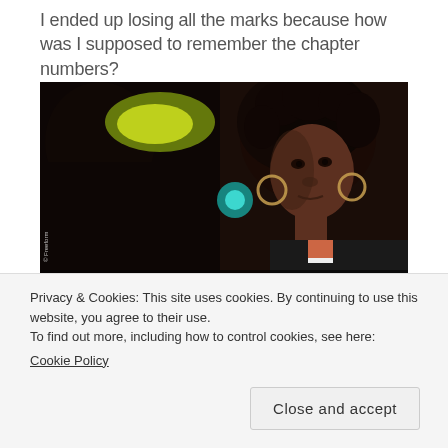I ended up losing all the marks because how was I supposed to remember the chapter numbers?
[Figure (screenshot): A dark scene from a TV show (Freeform) showing a young woman with curly hair and hoop earrings looking skeptically at someone off-screen. Subtitle text reads: 'You have got to be kidding me.' A small watermark reads '© Freeform' on the left side.]
Privacy & Cookies: This site uses cookies. By continuing to use this website, you agree to their use.
To find out more, including how to control cookies, see here:
Cookie Policy
Close and accept